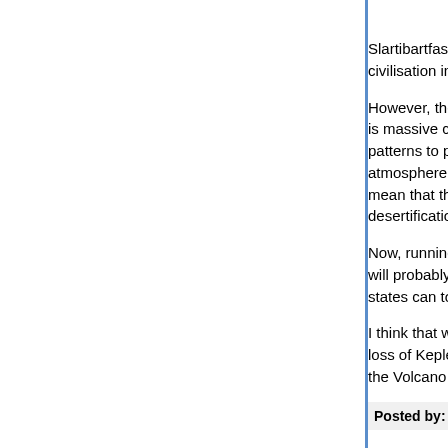Slartibartfast has a point. The obliteration of US c... civilisation in North America.
However, the most likely consequence of extreme... is massive climate changes which reduce capacit... patterns to promote floods and droughts. (You ge... atmosphere which means that it rains harder in so... mean that the vapour doesn't stay in the atmosph... desertification further on down the line.)
Now, running out of food probably leads to conflic... will probably end up being fought with nuclear we... states can tool themselves up within a decade or
I think that would probably lead to the loss of qua... loss of Kepler's Law and of the notion that you do... the Volcano God.
Posted by: The Creator | September 19, 2010 at 04:53 AM
Honestly, the whole global warming debate is bes... replace every single coal fired power plant in ope... on public health grounds alone - coal is an extrem...